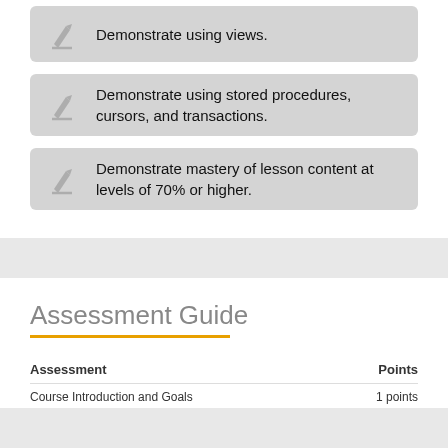Demonstrate using views.
Demonstrate using stored procedures, cursors, and transactions.
Demonstrate mastery of lesson content at levels of 70% or higher.
Assessment Guide
| Assessment | Points |
| --- | --- |
| Course Introduction and Goals | 1 points |